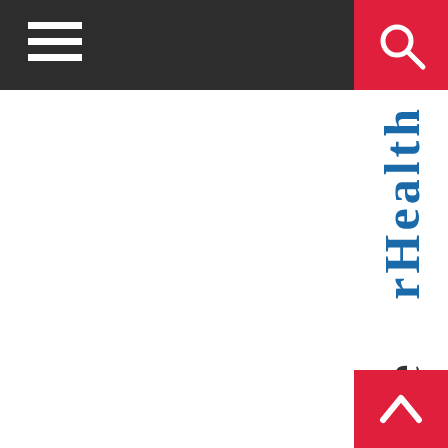Navigation bar with hamburger menu and search button
rHealth
There